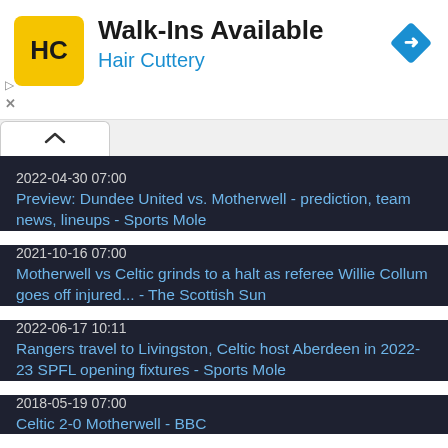[Figure (screenshot): Hair Cuttery advertisement banner with HC logo, 'Walk-Ins Available' heading, 'Hair Cuttery' subheading in blue, and a blue navigation diamond icon on the right.]
2022-04-30 07:00
Preview: Dundee United vs. Motherwell - prediction, team news, lineups - Sports Mole
2021-10-16 07:00
Motherwell vs Celtic grinds to a halt as referee Willie Collum goes off injured... - The Scottish Sun
2022-06-17 10:11
Rangers travel to Livingston, Celtic host Aberdeen in 2022-23 SPFL opening fixtures - Sports Mole
2018-05-19 07:00
Celtic 2-0 Motherwell - BBC
2022-05-14 07:00
Celtic trophy day - in pictures - Daily Record